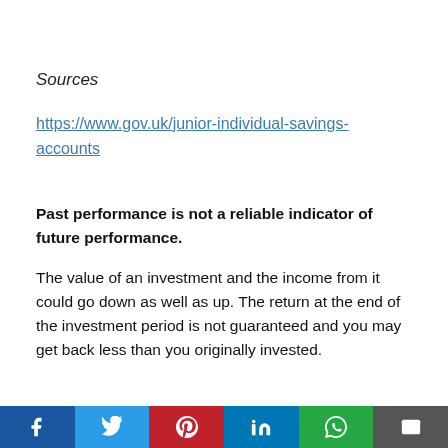Sources
https://www.gov.uk/junior-individual-savings-accounts
Past performance is not a reliable indicator of future performance.
The value of an investment and the income from it could go down as well as up. The return at the end of the investment period is not guaranteed and you may get back less than you originally invested.